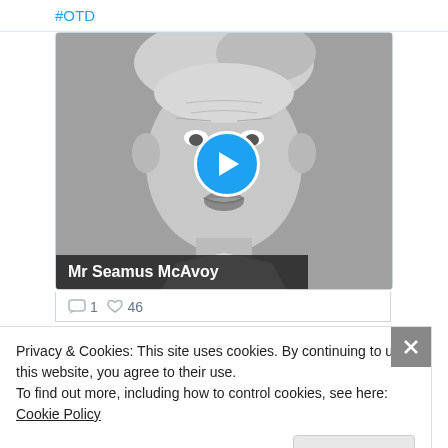#OTD
[Figure (photo): Black and white portrait photograph of Mr Seamus McAvoy with a play button overlay, indicating a video thumbnail.]
Mr Seamus McAvoy
1  46
Privacy & Cookies: This site uses cookies. By continuing to use this website, you agree to their use.
To find out more, including how to control cookies, see here: Cookie Policy
I'm good
(Gilbert) Johnston, 25. Labourer from